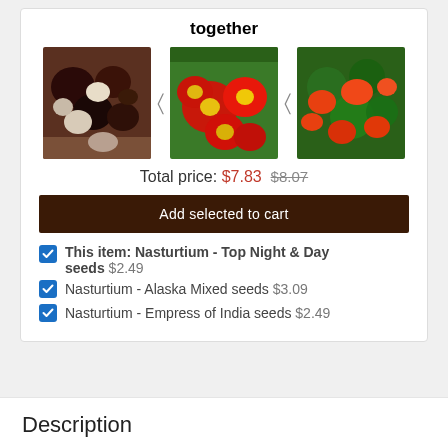together
[Figure (photo): Three flower product photos: dark burgundy/white flowers, red and yellow flowers, red/orange nasturtium flowers]
Total price: $7.83  $8.07
Add selected to cart
This item: Nasturtium - Top Night & Day seeds  $2.49
Nasturtium - Alaska Mixed seeds  $3.09
Nasturtium - Empress of India seeds  $2.49
Description